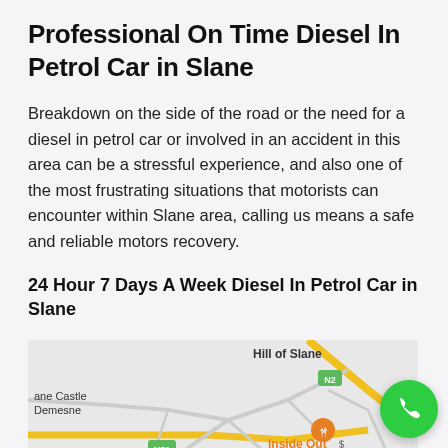Professional On Time Diesel In Petrol Car in Slane
Breakdown on the side of the road or the need for a diesel in petrol car or involved in an accident in this area can be a stressful experience, and also one of the most frustrating situations that motorists can encounter within Slane area, calling us means a safe and reliable motors recovery.
24 Hour 7 Days A Week Diesel In Petrol Car in Slane
[Figure (map): Google Maps view of Slane area showing Hill of Slane, N2 road marker, Slane Castle Demesne, Inside Out restaurant marker, and N51 road marker]